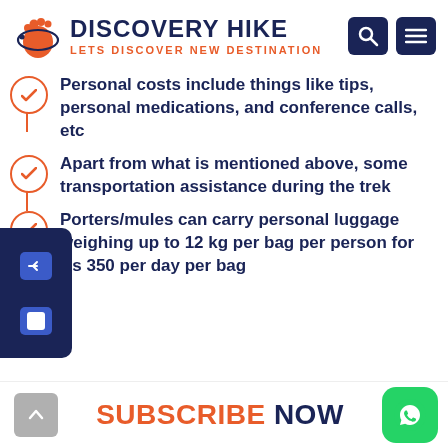[Figure (logo): Discovery Hike logo with orange footprint and text 'DISCOVERY HIKE - LETS DISCOVER NEW DESTINATION', plus search and menu icons]
Personal costs include things like tips, personal medications, and conference calls, etc
Apart from what is mentioned above, some transportation assistance during the trek
Porters/mules can carry personal luggage weighing up to 12 kg per bag per person for Rs 350 per day per bag
SUBSCRIBE NOW